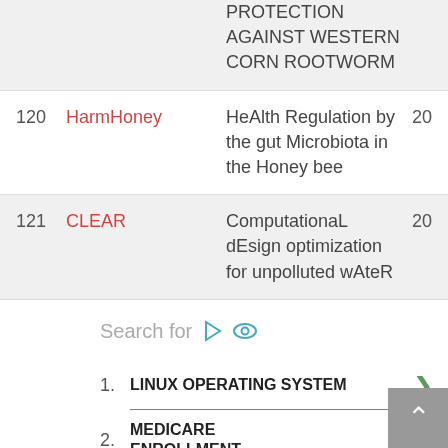| # | Name | Full Name | Year |
| --- | --- | --- | --- |
|  |  | PROTECTION AGAINST WESTERN CORN ROOTWORM |  |
| 120 | HarmHoney | HeAlth Regulation by the gut Microbiota in the Honey bee | 20 |
| 121 | CLEAR | ComputationaL dEsign optimization for unpolluted wAteR | 20 |
Search for
1. LINUX OPERATING SYSTEM
2. MEDICARE ENROLLMENT